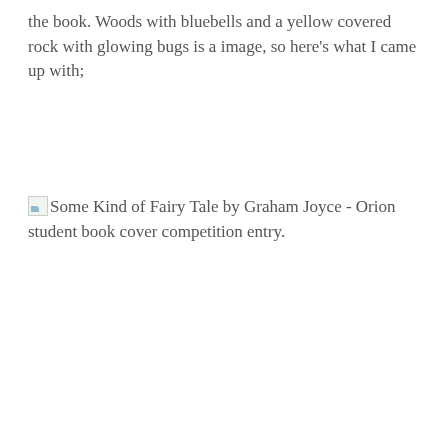the book. Woods with bluebells and a yellow covered rock with glowing bugs is a image, so here's what I came up with;
[Figure (illustration): Broken image placeholder for 'Some Kind of Fairy Tale by Graham Joyce - Orion student book cover competition entry.']